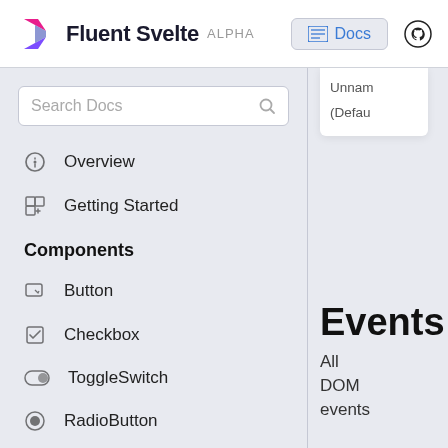Fluent Svelte ALPHA  Docs
Overview
Getting Started
Components
Button
Checkbox
ToggleSwitch
RadioButton
TextBox
Slider
Unnam
(Defau
Events
All
DOM
events